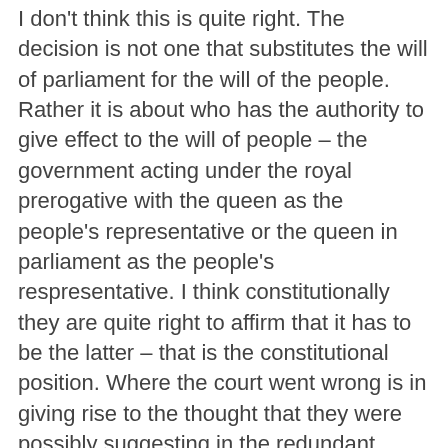I don't think this is quite right. The decision is not one that substitutes the will of parliament for the will of the people. Rather it is about who has the authority to give effect to the will of people – the government acting under the royal prerogative with the queen as the people's representative or the queen in parliament as the people's respresentative. I think constitutionally they are quite right to affirm that it has to be the latter – that is the constitutional position. Where the court went wrong is in giving rise to the thought that they were possibly suggesting in the redundant passages about whether article 50 was revocable or not that Parliament could act against the people. I see no basis for that pragmatically, constitutionally or on the basis is of political morality – there I agree with you. But the referendum decision does not say anything beyond that the UK should leave the EU – nothing about